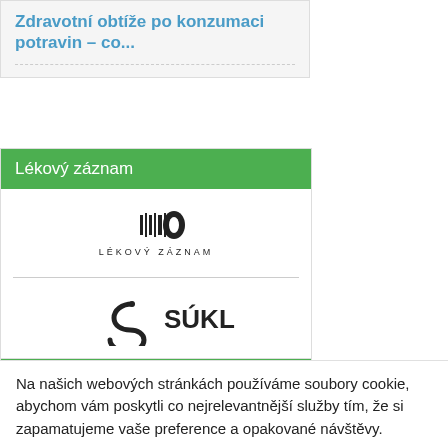Zdravotní obtíže po konzumaci potravin – co...
Lékový záznam
[Figure (logo): Lékový záznam logo with barcode-like icon and text 'LÉKOVÝ ZÁZNAM']
[Figure (logo): SÚKL logo with spiral S icon]
[Figure (logo): Ministerstvo zdravotnictví České republiky logo]
Strossova vila
[Figure (photo): Photo of Strossova vila building]
Na našich webových stránkách používáme soubory cookie, abychom vám poskytli co nejrelevantnější služby tím, že si zapamatujeme vaše preference a opakované návštěvy.